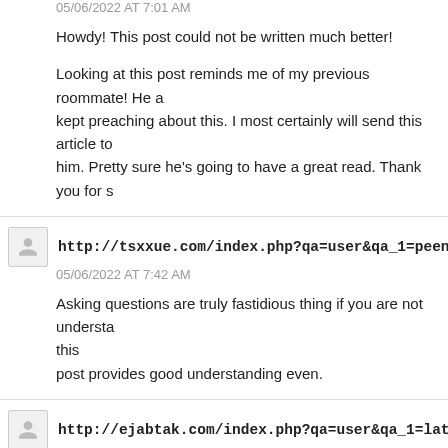05/06/2022 AT 7:01 AM
Howdy! This post could not be written much better!
Looking at this post reminds me of my previous roommate! He a kept preaching about this. I most certainly will send this article to him. Pretty sure he's going to have a great read. Thank you for s
http://tsxxue.com/index.php?qa=user&qa_1=peenblouse3 sa
05/06/2022 AT 7:42 AM
Asking questions are truly fastidious thing if you are not understa this post provides good understanding even.
http://ejabtak.com/index.php?qa=user&qa_1=lathecoke84 sa